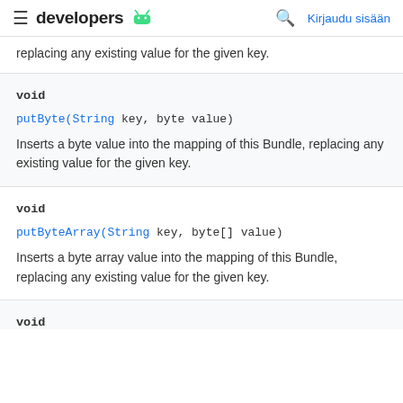developers [android icon] | [search icon] | Kirjaudu sisään
replacing any existing value for the given key.
void
putByte(String key, byte value)
Inserts a byte value into the mapping of this Bundle, replacing any existing value for the given key.
void
putByteArray(String key, byte[] value)
Inserts a byte array value into the mapping of this Bundle, replacing any existing value for the given key.
void